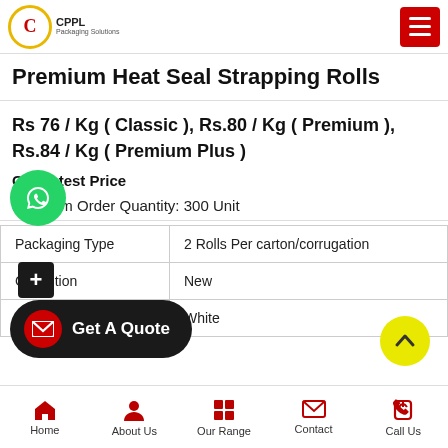CPPL logo and navigation menu
Premium Heat Seal Strapping Rolls
Rs 76 / Kg ( Classic ), Rs.80 / Kg ( Premium ), Rs.84 / Kg ( Premium Plus )
Get Latest Price
Minimum Order Quantity: 300 Unit
| Packaging Type | 2 Rolls Per carton/corrugation |
| Condition | New |
| Color | White |
Home  About Us  Our Range  Contact  Call Us